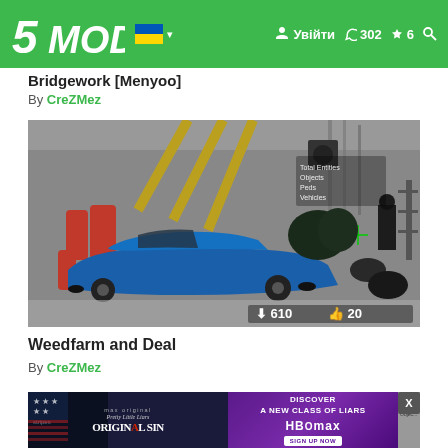5MODS — Увійти
Bridgework [Menyoo]
By CreZMez
[Figure (screenshot): GTA V game screenshot showing a blue muscle car in a warehouse/garage setting with gas tanks, motorcycles, plants, and a character on the right side. Overlay shows Total Entities, Objects, Peds, Vehicles. Download count: 610, Likes: 20.]
Weedfarm and Deal
By CreZMez
[Figure (screenshot): Partial screenshot at bottom showing advertisement overlay for Pretty Little Liars: Original Sin on HBO Max. Ad shows 'DISCOVER A NEW CLASS OF LIARS' with HBO Max logo and Sign Up Now button. Close X button visible.]